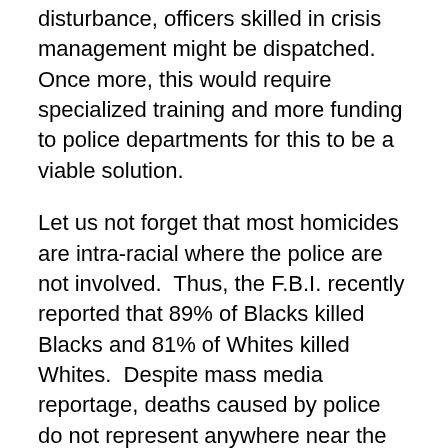disturbance, officers skilled in crisis management might be dispatched.  Once more, this would require specialized training and more funding to police departments for this to be a viable solution.
Let us not forget that most homicides are intra-racial where the police are not involved.  Thus, the F.B.I. recently reported that 89% of Blacks killed Blacks and 81% of Whites killed Whites.  Despite mass media reportage, deaths caused by police do not represent anywhere near the majority of homicides with Blacks.  To quote Marshall McLuhan:  The message is the media.  This is not to say that police should not be questioned when they use lethal force inappropriately.  But the media does a tremendous job at dramatizing sensation as a means of increasing its viewers or readership.  What goes viral often causes alarm without subsequent supporting evidence.  With all